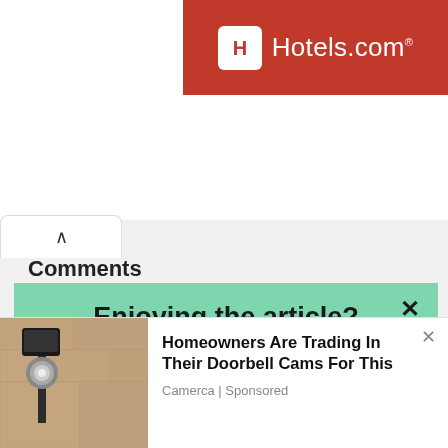[Figure (logo): Hotels.com logo on red banner background with white H icon and white text]
Comments
Enjoying the article?
Subscribe to get stories like this delivered to your inbox every day
Enter your email
Homeowners Are Trading In Their Doorbell Cams For This
Camerca | Sponsored